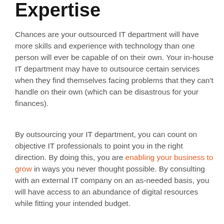Expertise
Chances are your outsourced IT department will have more skills and experience with technology than one person will ever be capable of on their own. Your in-house IT department may have to outsource certain services when they find themselves facing problems that they can't handle on their own (which can be disastrous for your finances).
By outsourcing your IT department, you can count on objective IT professionals to point you in the right direction. By doing this, you are enabling your business to grow in ways you never thought possible. By consulting with an external IT company on an as-needed basis, you will have access to an abundance of digital resources while fitting your intended budget.